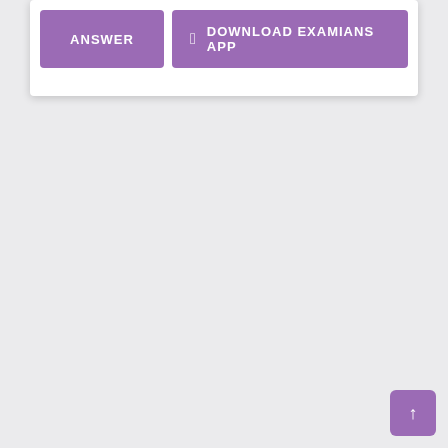[Figure (screenshot): A UI card with two purple buttons: 'ANSWER' on the left and a Download Examians App button with Apple icon on the right.]
[Figure (other): A purple scroll-to-top button with an upward arrow in the bottom right corner of the page.]